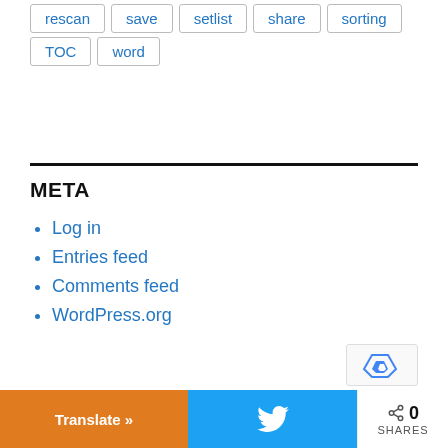rescan
save
setlist
share
sorting
TOC
word
META
Log in
Entries feed
Comments feed
WordPress.org
Translate »
0 SHARES